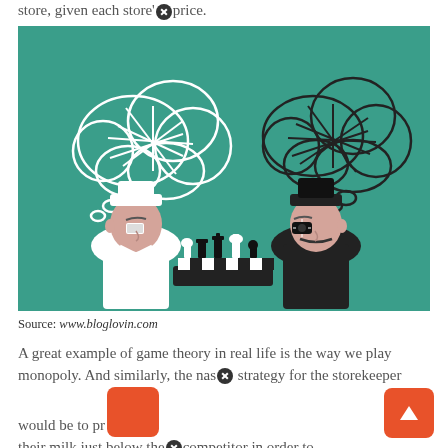store, given each store's price.
[Figure (illustration): Illustration of two men in hats facing each other across a chess board, each with a thought bubble above their head showing abstract network/pie chart patterns. The left man wears white with a white hat, the right man wears black with a black hat. Background is teal/green. Depicts game theory / strategic thinking.]
Source: www.bloglovin.com
A great example of game theory in real life is the way we play monopoly. And similarly, the nash strategy for the storekeeper would be to price their milk just below the competitor in order to